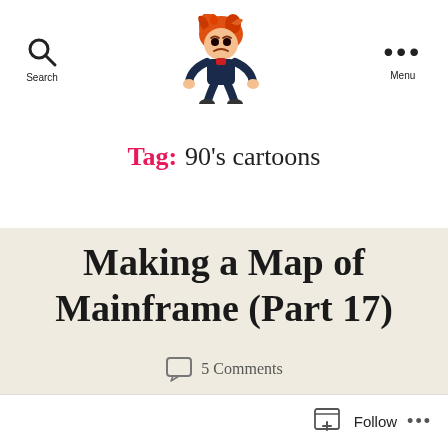Search  [logo character]  Menu
Tag: 90's cartoons
Making a Map of Mainframe (Part 17)
5 Comments
Follow ...